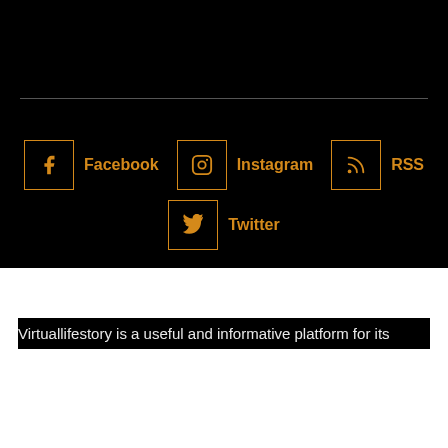Facebook
Instagram
RSS
Twitter
About Us
Virtuallifestory is a useful and informative platform for its